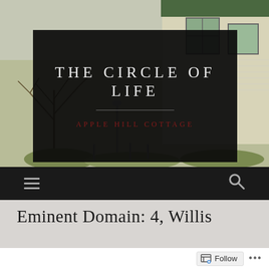[Figure (illustration): Watercolor-style painting of an old house/cottage with bare trees, seen from the street, in muted greens, yellows, and grays]
THE CIRCLE OF LIFE
APPLE HILL COTTAGE
[Figure (infographic): Navigation bar with hamburger menu icon on the left and search (magnifying glass) icon on the right, on dark background]
Eminent Domain: 4, Willis
Follow   •••